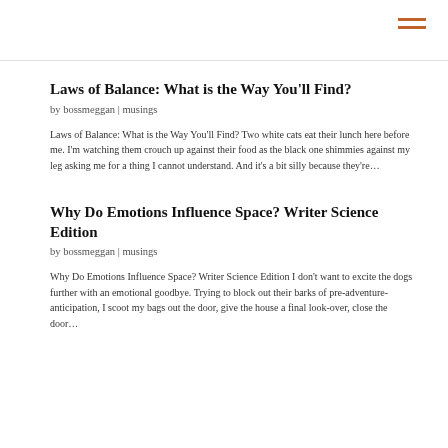Laws of Balance: What is the Way You'll Find?
by bossmeggan | musings
Laws of Balance: What is the Way You'll Find? Two white cats eat their lunch here before me. I'm watching them crouch up against their food as the black one shimmies against my leg asking me for a thing I cannot understand. And it's a bit silly because they're…
Why Do Emotions Influence Space? Writer Science Edition
by bossmeggan | musings
Why Do Emotions Influence Space? Writer Science Edition I don't want to excite the dogs further with an emotional goodbye. Trying to block out their barks of pre-adventure-anticipation, I scoot my bags out the door, give the house a final look-over, close the door…